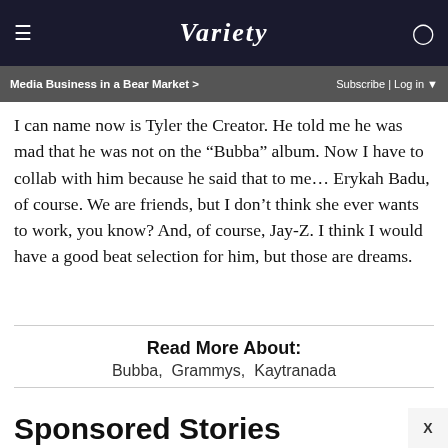VARIETY — Media Business in a Bear Market > | Subscribe | Log in
I can name now is Tyler the Creator. He told me he was mad that he was not on the “Bubba” album. Now I have to collab with him because he said that to me… Erykah Badu, of course. We are friends, but I don’t think she ever wants to work, you know? And, of course, Jay-Z. I think I would have a good beat selection for him, but those are dreams.
Read More About:
Bubba,  Grammys,  Kaytranada
Sponsored Stories